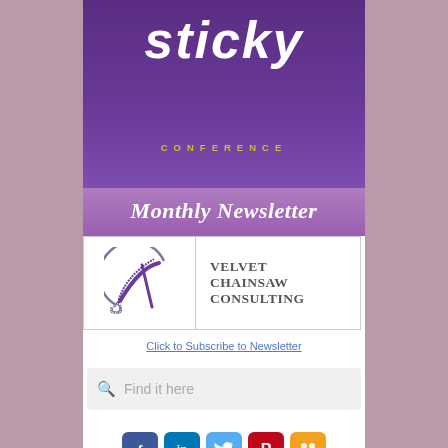[Figure (logo): Sticky Conference logo with purple background showing 'sticky' in large white italic font and 'CONFERENCE' in gold spaced letters]
Monthly Newsletter
[Figure (logo): Velvet Chainsaw Consulting logo with circular chainsaw graphic on left and company name on right]
Click to Subscribe to Newsletter
Find it here
[Figure (illustration): Social media icons: Facebook, LinkedIn, Twitter, Pinterest, and Delicious]